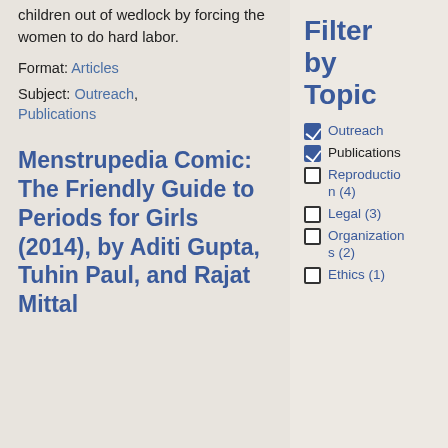children out of wedlock by forcing the women to do hard labor.
Format: Articles
Subject: Outreach, Publications
Menstrupedia Comic: The Friendly Guide to Periods for Girls (2014), by Aditi Gupta, Tuhin Paul, and Rajat Mittal
Filter by Topic
Outreach (checked)
Publications (checked)
Reproduction (4) (unchecked)
Legal (3) (unchecked)
Organizations (2) (unchecked)
Ethics (1) (unchecked)